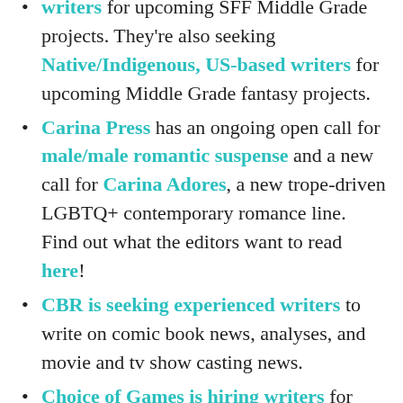writers for upcoming SFF Middle Grade projects. They're also seeking Native/Indigenous, US-based writers for upcoming Middle Grade fantasy projects.
Carina Press has an ongoing open call for male/male romantic suspense and a new call for Carina Adores, a new trope-driven LGBTQ+ contemporary romance line. Find out what the editors want to read here!
CBR is seeking experienced writers to write on comic book news, analyses, and movie and tv show casting news.
Choice of Games is hiring writers for their new line of interactive romance